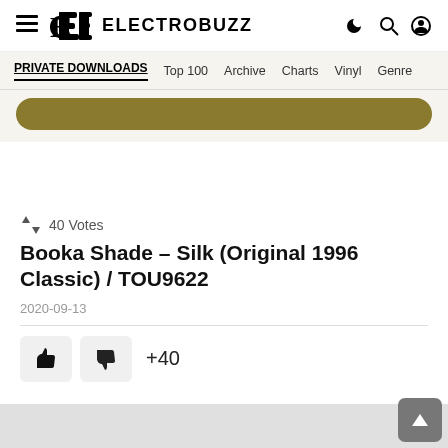ELECTROBUZZ
PRIVATE DOWNLOADS  Top 100  Archive  Charts  Vinyl  Genre
40 Votes
Booka Shade – Silk (Original 1996 Classic) / TOU9622
2020-09-13
+40